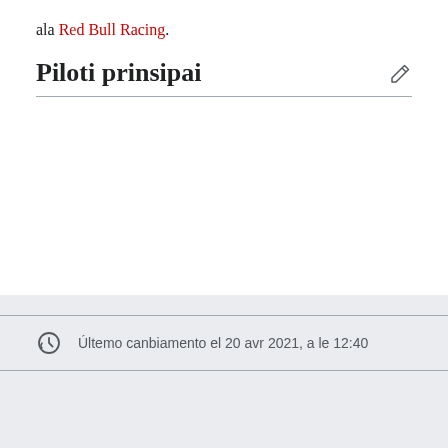ala Red Bull Racing.
Piloti prinsipai
Últemo canbiamento el 20 avr 2021, a le 12:40